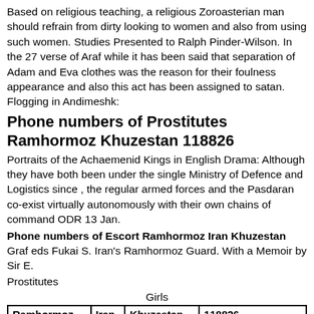Based on religious teaching, a religious Zoroasterian man should refrain from dirty looking to women and also from using such women. Studies Presented to Ralph Pinder-Wilson. In the 27 verse of Araf while it has been said that separation of Adam and Eva clothes was the reason for their foulness appearance and also this act has been assigned to satan. Flogging in Andimeshk:
Phone numbers of Prostitutes Ramhormoz Khuzestan 118826
Portraits of the Achaemenid Kings in English Drama: Although they have both been under the single Ministry of Defence and Logistics since , the regular armed forces and the Pasdaran co-exist virtually autonomously with their own chains of command ODR 13 Jan.
Phone numbers of Escort Ramhormoz Iran Khuzestan
Graf eds Fukai S. Iran's Ramhormoz Guard. With a Memoir by Sir E.
Prostitutes
Girls
| Ramhormoz | Iran | Khuzestan | 118826 |
| --- | --- | --- | --- |
| Hookers | 869 | Prostittutes | Accessibility links |
| Whores | 214 | no | Library search |